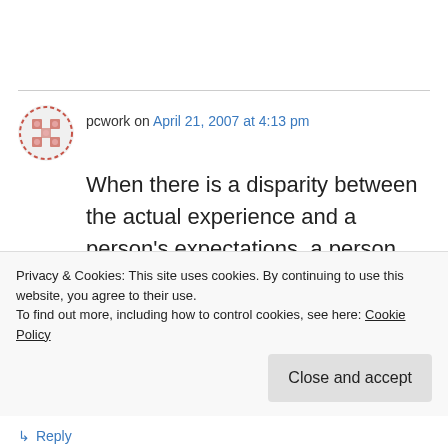pcwork on April 21, 2007 at 4:13 pm
When there is a disparity between the actual experience and a person's expectations, a person experiences stress. If the person does not have very high expectations, he or she may not experience stress. I found informations
Privacy & Cookies: This site uses cookies. By continuing to use this website, you agree to their use.
To find out more, including how to control cookies, see here: Cookie Policy
Close and accept
↳ Reply